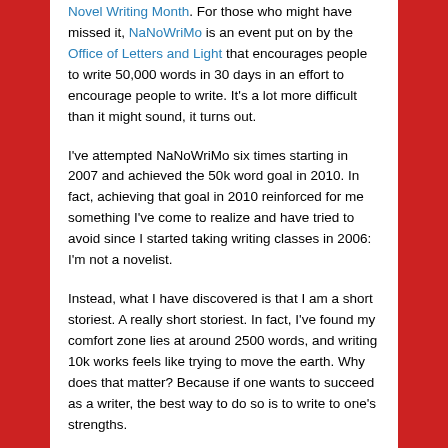Novel Writing Month. For those who might have missed it, NaNoWriMo is an event put on by the Office of Letters and Light that encourages people to write 50,000 words in 30 days in an effort to encourage people to write. It's a lot more difficult than it might sound, it turns out.
I've attempted NaNoWriMo six times starting in 2007 and achieved the 50k word goal in 2010. In fact, achieving that goal in 2010 reinforced for me something I've come to realize and have tried to avoid since I started taking writing classes in 2006: I'm not a novelist.
Instead, what I have discovered is that I am a short storiest. A really short storiest. In fact, I've found my comfort zone lies at around 2500 words, and writing 10k works feels like trying to move the earth. Why does that matter? Because if one wants to succeed as a writer, the best way to do so is to write to one's strengths.
Of course, success in writing is relative. Another thing I've realized along the way is that my long-time dream of